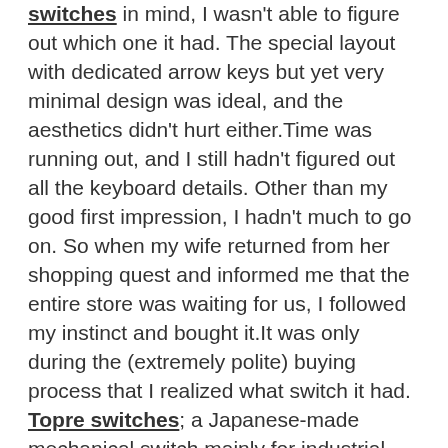switches in mind, I wasn't able to figure out which one it had. The special layout with dedicated arrow keys but yet very minimal design was ideal, and the aesthetics didn't hurt either.Time was running out, and I still hadn't figured out all the keyboard details. Other than my good first impression, I hadn't much to go on. So when my wife returned from her shopping quest and informed me that the entire store was waiting for us, I followed my instinct and bought it.It was only during the (extremely polite) buying process that I realized what switch it had. Topre switches; a Japanese-made mechanical switch mainly for industrial use, when failure is not an option. Usually, they come on Realforce keyboards, their daughter company, and rarely on anything else.While unwrapping the entire thing in the hotel, I crossed my fingers placed my fingers on the keyboard and prayed I hadn't made a bad choice, until I started typing on it... It was heaven on earth.